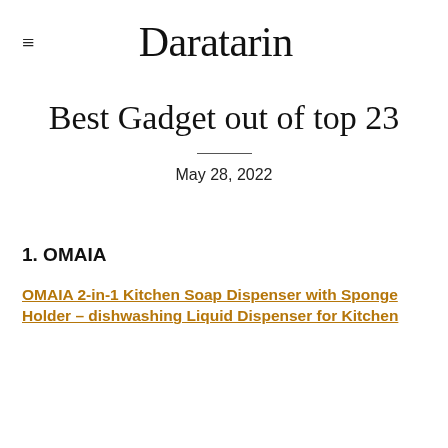≡  Daratarin
Best Gadget out of top 23
May 28, 2022
1. OMAIA
OMAIA 2-in-1 Kitchen Soap Dispenser with Sponge Holder – dishwashing Liquid Dispenser for Kitchen